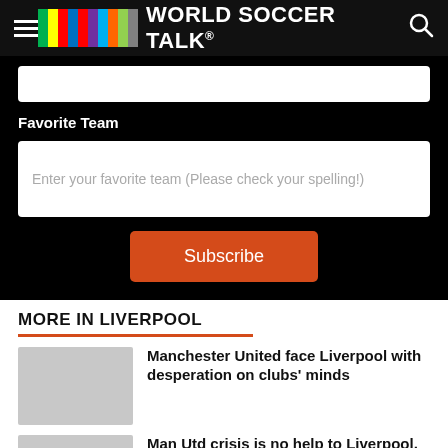World Soccer Talk
Favorite Team
Enter your favorite team (Please check your spelling!)
Subscribe
MORE IN LIVERPOOL
Manchester United face Liverpool with desperation on clubs' minds
Man Utd crisis is no help to Liverpool, says Klopp